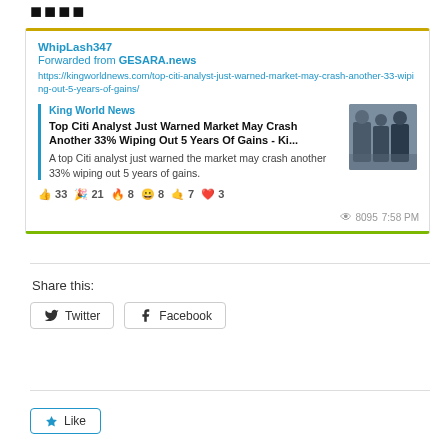[Figure (screenshot): Telegram post from WhipLash347 forwarded from GESARA.news, linking to King World News article about Citi analyst warning market may crash 33%, with reactions and engagement metrics]
Share this:
Twitter
Facebook
Like